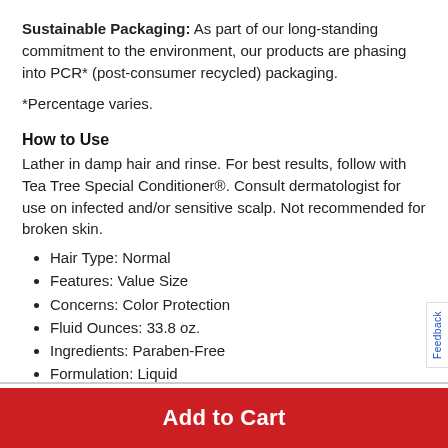Sustainable Packaging: As part of our long-standing commitment to the environment, our products are phasing into PCR* (post-consumer recycled) packaging.
*Percentage varies.
How to Use
Lather in damp hair and rinse. For best results, follow with Tea Tree Special Conditioner®. Consult dermatologist for use on infected and/or sensitive scalp. Not recommended for broken skin.
Hair Type: Normal
Features: Value Size
Concerns: Color Protection
Fluid Ounces: 33.8 oz.
Ingredients: Paraben-Free
Formulation: Liquid
Country of Origin: Made in US
Add to Cart